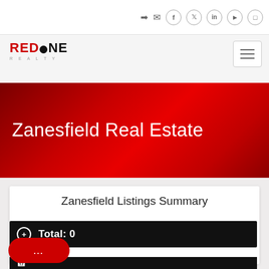[Figure (logo): RedOne Realty logo with red and black text and a black circle replacing the 'O']
Zanesfield Real Estate
Zanesfield Listings Summary
Total: 0